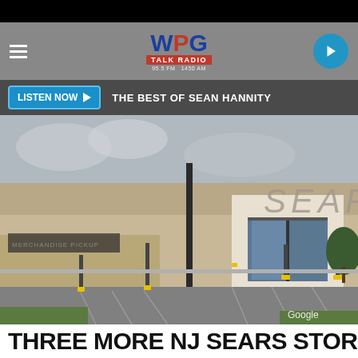[Figure (screenshot): WPG Talk Radio app header with hamburger menu, WPG Talk Radio logo, and play button]
LISTEN NOW  THE BEST OF SEAN HANNITY
[Figure (photo): Exterior photo of a Sears store with parking lot in foreground, Google watermark visible]
THREE MORE NJ SEARS STORES